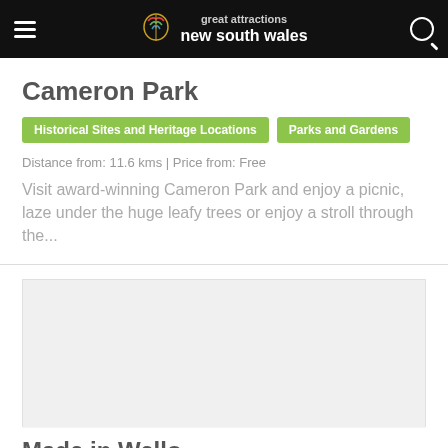great attractions new south wales
Cameron Park
Historical Sites and Heritage Locations | Parks and Gardens
Distance from: 11.6 kms | Price from: Free
Visit award-winning Cameron Park and enjoy a picnic, laze under the huge leafy trees or enjoy a stroll through the...
Made in Wello